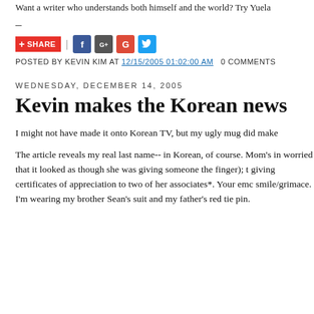Want a writer who understands both himself and the world? Try Yuela
–
+ SHARE | [Facebook] [G+] [Google] [Twitter]
POSTED BY KEVIN KIM AT 12/15/2005 01:02:00 AM   0 COMMENTS
WEDNESDAY, DECEMBER 14, 2005
Kevin makes the Korean news
I might not have made it onto Korean TV, but my ugly mug did make
The article reveals my real last name-- in Korean, of course. Mom's in worried that it looked as though she was giving someone the finger); t giving certificates of appreciation to two of her associates*. Your emc smile/grimace. I'm wearing my brother Sean's suit and my father's red tie pin.